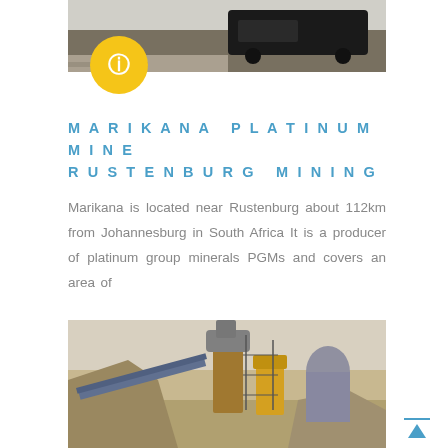[Figure (photo): Top photo showing a dark vehicle or machinery in an outdoor industrial/mine setting]
MARIKANA PLATINUM MINE RUSTENBURG MINING
Marikana is located near Rustenburg about 112km from Johannesburg in South Africa It is a producer of platinum group minerals PGMs and covers an area of
[Figure (photo): Bottom photo showing mining processing plant with conveyor belts, machinery, rubble piles and industrial equipment]